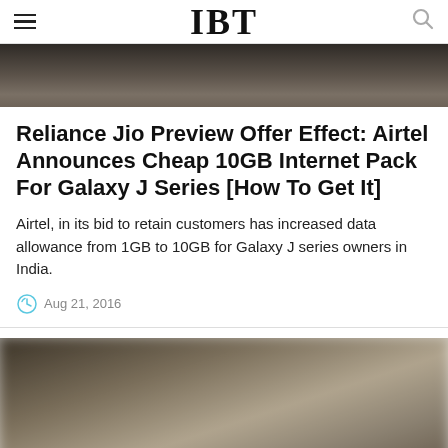IBT
[Figure (photo): Dark blurred image at top of article, appears to be a phone or device]
Reliance Jio Preview Offer Effect: Airtel Announces Cheap 10GB Internet Pack For Galaxy J Series [How To Get It]
Airtel, in its bid to retain customers has increased data allowance from 1GB to 10GB for Galaxy J series owners in India.
Aug 21, 2016
[Figure (photo): Blurred image at bottom of article, appears to be a phone or device]